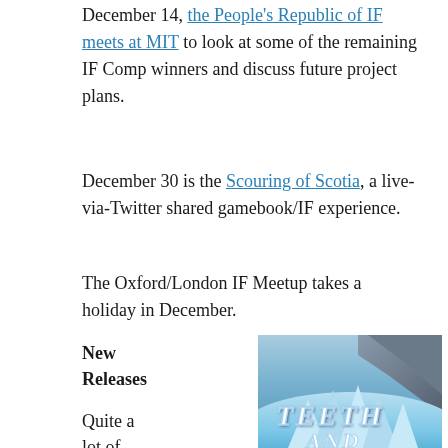December 14, the People's Republic of IF meets at MIT to look at some of the remaining IF Comp winners and discuss future project plans.
December 30 is the Scouring of Scotia, a live-via-Twitter shared gamebook/IF experience.
The Oxford/London IF Meetup takes a holiday in December.
New Releases
Quite a lot of
[Figure (photo): Book cover image showing icy glacier landscape with the title TEETH AND partially visible, rendered in large stylized white letters over blue ice and rocky mountain backdrop.]